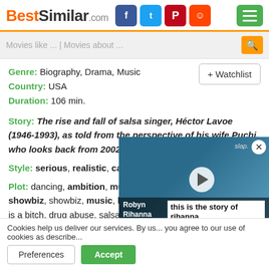BestSimilar.com
Movies like ... | Movies about ...
Genre: Biography, Drama, Music
Country: USA
Duration: 106 min.
+ Watchlist
Story: The rise and fall of salsa singer, Héctor Lavoe (1946-1993), as told from the perspective of his wife Puchi, who looks back from 2002.
Style: serious, realistic, captivating, disturbing, sentimental
Plot: dancing, ambition, musician's life, artists and showbiz, showbiz, music, lifestyle, romance, rise and fall, life is a bitch, drug abuse, salsa ...
Time: 70s, 60s
Place: new york, usa, puerto rico
[Figure (screenshot): Video overlay showing Robyn Rihanna Fenty with play button and caption 'this is the story of rihanna.']
Cookies help us deliver our services. By us... you agree to our use of cookies as describe...
Preferences  Accept